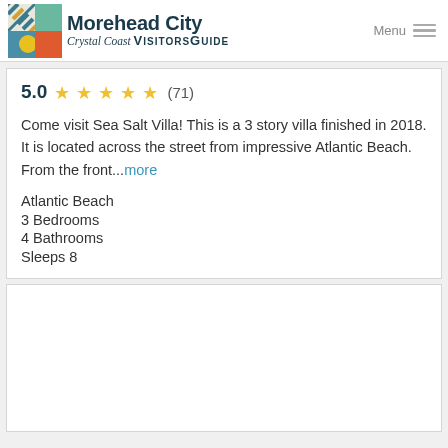Morehead City Crystal Coast VISITORS GUIDE
5.0 ★★★★★ (71)
Come visit Sea Salt Villa! This is a 3 story villa finished in 2018. It is located across the street from impressive Atlantic Beach. From the front...more
Atlantic Beach
3 Bedrooms
4 Bathrooms
Sleeps 8